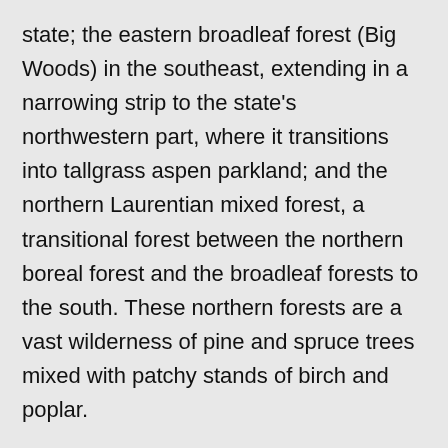state; the eastern broadleaf forest (Big Woods) in the southeast, extending in a narrowing strip to the state's northwestern part, where it transitions into tallgrass aspen parkland; and the northern Laurentian mixed forest, a transitional forest between the northern boreal forest and the broadleaf forests to the south. These northern forests are a vast wilderness of pine and spruce trees mixed with patchy stands of birch and poplar.
Much of Minnesota's northern forest has undergone logging, leaving only a few patches of old growth forest today in areas such as the Chippewa National Forest and the Superior National Forest, where the Boundary Waters Canoe Area Wilderness has some 400,000 acres (162,000 ha) of unlogged land. Although logging continues, regrowth and replanting keep